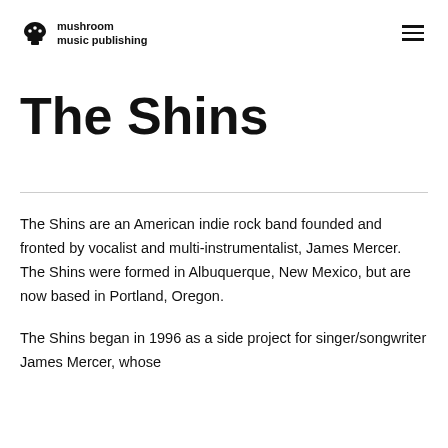mushroom music publishing
The Shins
The Shins are an American indie rock band founded and fronted by vocalist and multi-instrumentalist, James Mercer. The Shins were formed in Albuquerque, New Mexico, but are now based in Portland, Oregon.
The Shins began in 1996 as a side project for singer/songwriter James Mercer, whose